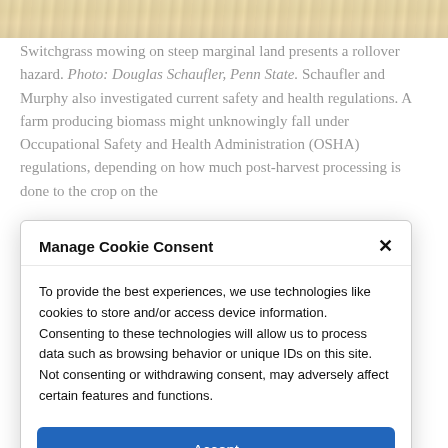[Figure (photo): Strip of a photo showing switchgrass on steep marginal land, golden/tan colored dry grass texture]
Switchgrass mowing on steep marginal land presents a rollover hazard. Photo: Douglas Schaufler, Penn State. Schaufler and Murphy also investigated current safety and health regulations. A farm producing biomass might unknowingly fall under Occupational Safety and Health Administration (OSHA) regulations, depending on how much post-harvest processing is done to the crop on the
Manage Cookie Consent
To provide the best experiences, we use technologies like cookies to store and/or access device information. Consenting to these technologies will allow us to process data such as browsing behavior or unique IDs on this site. Not consenting or withdrawing consent, may adversely affect certain features and functions.
Accept
Cookie Policy   Privacy Statement